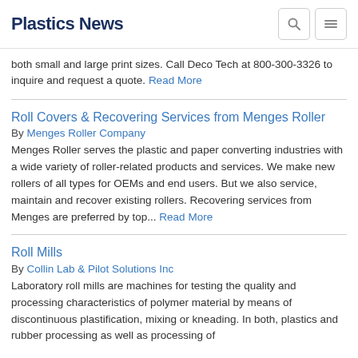Plastics News
both small and large print sizes. Call Deco Tech at 800-300-3326 to inquire and request a quote. Read More
Roll Covers & Recovering Services from Menges Roller
By Menges Roller Company
Menges Roller serves the plastic and paper converting industries with a wide variety of roller-related products and services. We make new rollers of all types for OEMs and end users. But we also service, maintain and recover existing rollers. Recovering services from Menges are preferred by top... Read More
Roll Mills
By Collin Lab & Pilot Solutions Inc
Laboratory roll mills are machines for testing the quality and processing characteristics of polymer material by means of discontinuous plastification, mixing or kneading. In both, plastics and rubber processing as well as processing of